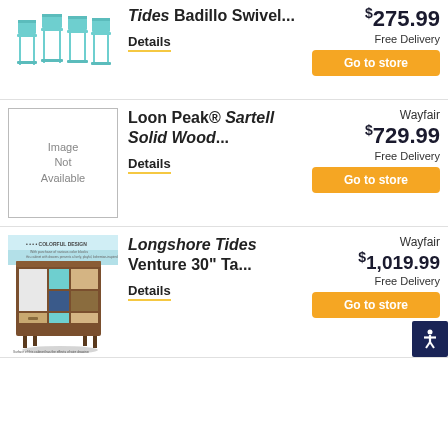[Figure (photo): Teal/mint metal bar stools set of 4]
Tides Badillo Swivel...
Details
$275.99
Free Delivery
Go to store
[Figure (photo): Image Not Available placeholder]
Loon Peak® Sartell Solid Wood...
Details
Wayfair
$729.99
Free Delivery
Go to store
[Figure (photo): Colorful design wooden cabinet with drawers and colorful panel doors]
Longshore Tides Venture 30" Ta...
Details
Wayfair
$1,019.99
Free Delivery
Go to store